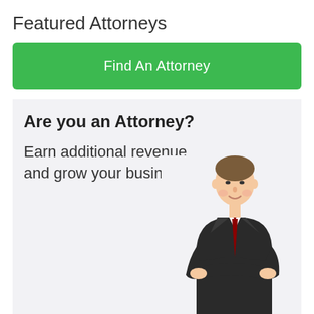Featured Attorneys
Find An Attorney
Are you an Attorney?
Earn additional revenue and grow your business.
[Figure (illustration): Man in dark suit with arms crossed, standing pose, used as attorney advertisement illustration]
Join LawGuru Now